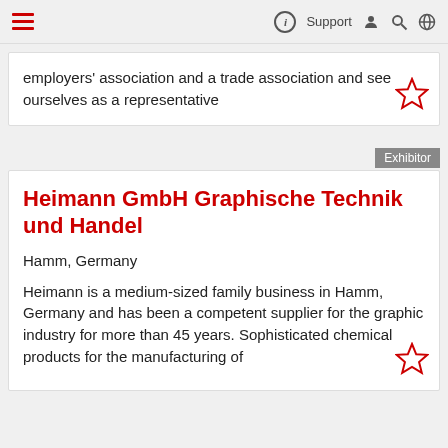Support
employers' association and a trade association and see ourselves as a representative
Exhibitor
Heimann GmbH Graphische Technik und Handel
Hamm, Germany
Heimann is a medium-sized family business in Hamm, Germany and has been a competent supplier for the graphic industry for more than 45 years. Sophisticated chemical products for the manufacturing of